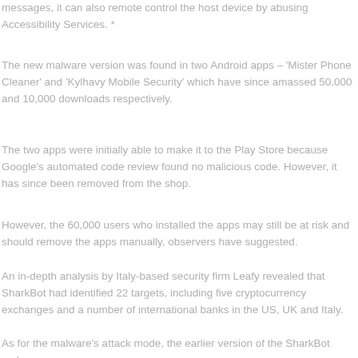messages, it can also remote control the host device by abusing Accessibility Services.*
The new malware version was found in two Android apps – 'Mister Phone Cleaner' and 'Kylhavy Mobile Security' which have since amassed 50,000 and 10,000 downloads respectively.
The two apps were initially able to make it to the Play Store because Google's automated code review found no malicious code. However, it has since been removed from the shop.
However, the 60,000 users who installed the apps may still be at risk and should remove the apps manually, observers have suggested.
An in-depth analysis by Italy-based security firm Leafy revealed that SharkBot had identified 22 targets, including five cryptocurrency exchanges and a number of international banks in the US, UK and Italy.
As for the malware's attack mode, the earlier version of the SharkBot malware